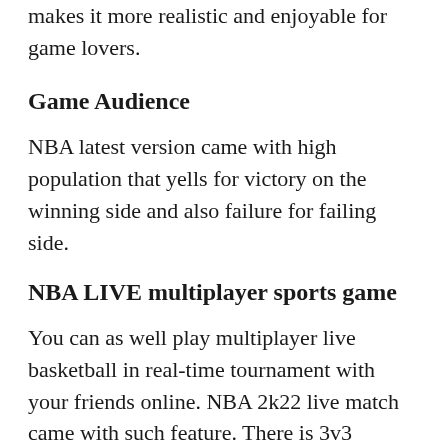makes it more realistic and enjoyable for game lovers.
Game Audience
NBA latest version came with high population that yells for victory on the winning side and also failure for failing side.
NBA LIVE multiplayer sports game
You can as well play multiplayer live basketball in real-time tournament with your friends online. NBA 2k22 live match came with such feature. There is 3v3 basketball matchups. You have to compete in a tournament...